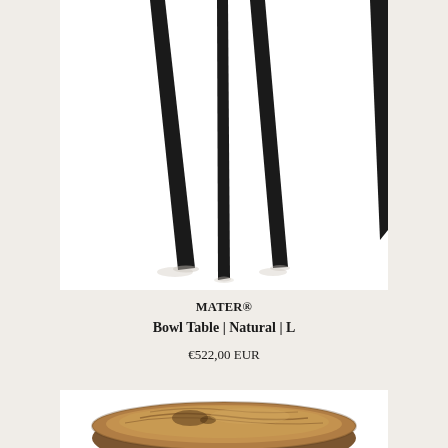[Figure (photo): Close-up product photo of table legs — three slender black tapered metal legs of the Bowl Table, viewed from below, against a white background with subtle shadows.]
MATER®
Bowl Table | Natural | L
€522,00 EUR
[Figure (photo): Partial product photo showing the top of a round wooden bowl table with natural wood grain finish, warm brown tones.]